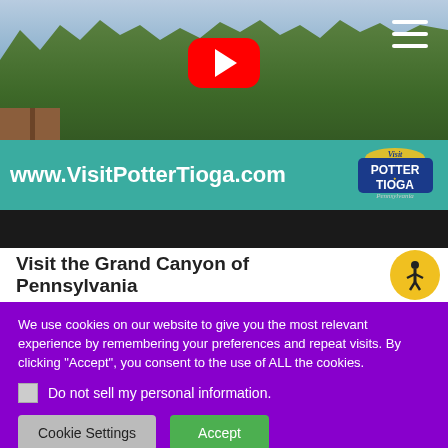[Figure (screenshot): Hero image of forested mountain landscape with a wooden deck railing in the lower left. YouTube play button overlay in the center top area. Hamburger menu icon in upper right. Teal banner across the bottom with www.VisitPotterTioga.com and Visit Potter Tioga Pennsylvania logo. Black strip below banner.]
Visit the Grand Canyon of Pennsylvania
We use cookies on our website to give you the most relevant experience by remembering your preferences and repeat visits. By clicking “Accept”, you consent to the use of ALL the cookies.
Do not sell my personal information.
Cookie Settings   Accept